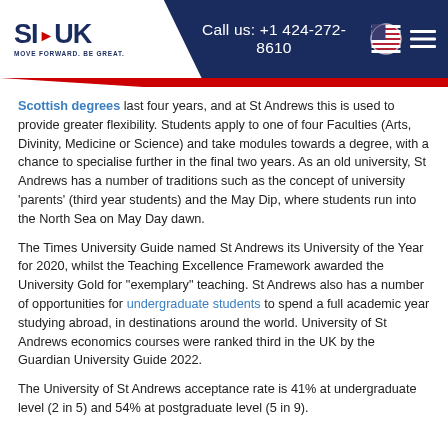SI-UK | Call us: +1 424-272-8610
Scottish degrees last four years, and at St Andrews this is used to provide greater flexibility. Students apply to one of four Faculties (Arts, Divinity, Medicine or Science) and take modules towards a degree, with a chance to specialise further in the final two years. As an old university, St Andrews has a number of traditions such as the concept of university ‘parents’ (third year students) and the May Dip, where students run into the North Sea on May Day dawn.
The Times University Guide named St Andrews its University of the Year for 2020, whilst the Teaching Excellence Framework awarded the University Gold for "exemplary" teaching. St Andrews also has a number of opportunities for undergraduate students to spend a full academic year studying abroad, in destinations around the world. University of St Andrews economics courses were ranked third in the UK by the Guardian University Guide 2022.
The University of St Andrews acceptance rate is 41% at undergraduate level (2 in 5) and 54% at postgraduate level (5 in 9).